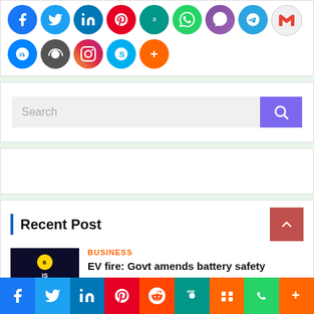[Figure (other): Social media sharing icons row 1: Facebook, Twitter, LinkedIn, Pinterest, MeWe, WhatsApp, Viber, Telegram, Gmail]
[Figure (other): Social media sharing icons row 2: Messenger, Blogger, Instagram, Skype, More(+)]
[Figure (other): Search bar with purple search button and magnifying glass icon]
[Figure (other): Empty advertisement white box]
Recent Post
[Figure (other): Thumbnail image with dark background showing 'IS GREATER THAN' text with yellow circle logo]
BUSINESS
EV fire: Govt amends battery safety
[Figure (other): Bottom sharing bar: Facebook, Twitter, LinkedIn, Pinterest, Reddit, MeWe, Mix, WhatsApp, More]